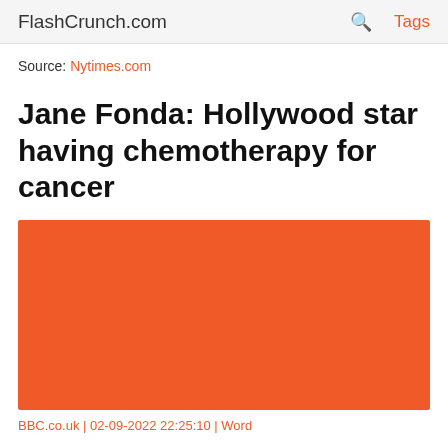FlashCrunch.com  🔍  Tags
Source: Nytimes.com
Jane Fonda: Hollywood star having chemotherapy for cancer
[Figure (photo): Orange/red colored image placeholder for article thumbnail]
BBC.co.uk | 02-09-2022 22:25:10 | Word